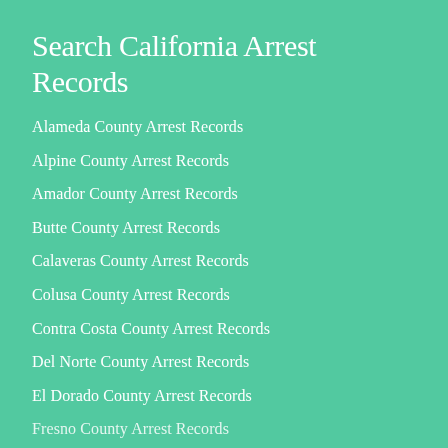Search California Arrest Records
Alameda County Arrest Records
Alpine County Arrest Records
Amador County Arrest Records
Butte County Arrest Records
Calaveras County Arrest Records
Colusa County Arrest Records
Contra Costa County Arrest Records
Del Norte County Arrest Records
El Dorado County Arrest Records
Fresno County Arrest Records